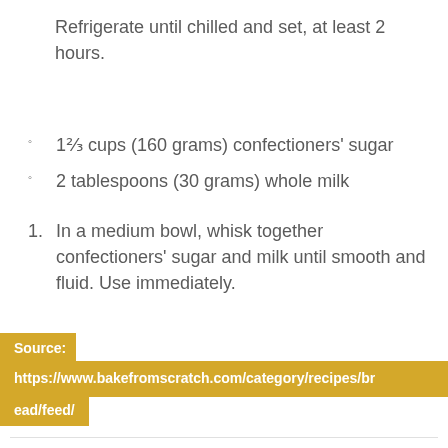Refrigerate until chilled and set, at least 2 hours.
1⅔ cups (160 grams) confectioners' sugar
2 tablespoons (30 grams) whole milk
1. In a medium bowl, whisk together confectioners' sugar and milk until smooth and fluid. Use immediately.
Source: https://www.bakefromscratch.com/category/recipes/bread/feed/